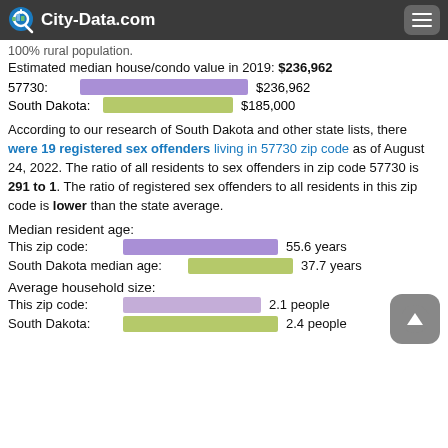100% rural population.
City-Data.com
Estimated median house/condo value in 2019: $236,962
57730: $236,962 | South Dakota: $185,000
According to our research of South Dakota and other state lists, there were 19 registered sex offenders living in 57730 zip code as of August 24, 2022. The ratio of all residents to sex offenders in zip code 57730 is 291 to 1. The ratio of registered sex offenders to all residents in this zip code is lower than the state average.
Median resident age:
This zip code: 55.6 years | South Dakota median age: 37.7 years
Average household size:
This zip code: 2.1 people | South Dakota: 2.4 people